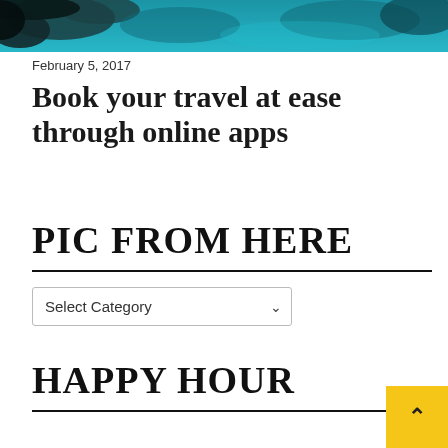[Figure (photo): Hero image showing turquoise water and dark rocks/coral from an aerial or underwater perspective]
February 5, 2017
Book your travel at ease through online apps
PIC FROM HERE
[Figure (screenshot): Select Category dropdown UI element]
HAPPY HOUR